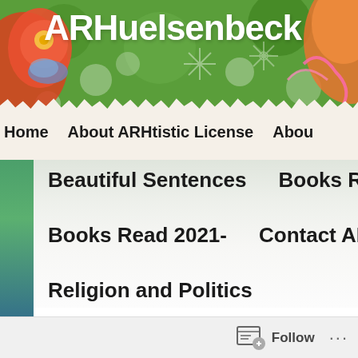ARHuelsenbeck
[Figure (screenshot): Colorful decorative art banner background with floral and folk art patterns in red, orange, green, and yellow]
Home   About ARHtistic License   About
Beautiful Sentences
Books Read 2016
Books Read 2021-
Contact ARHtistic L
Religion and Politics
Follow ...